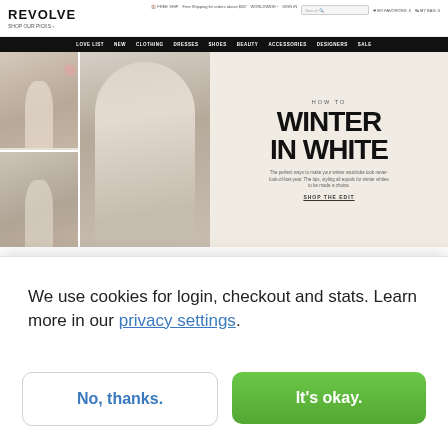[Figure (screenshot): REVOLVE fashion e-commerce website screenshot showing navigation bar, hero banner with models wearing white winter outfits, and 'HOW TO WINTER IN WHITE' promotional text with SHOP THE EDIT link]
We use cookies for login, checkout and stats. Learn more in our privacy settings.
No, thanks.
It's okay.